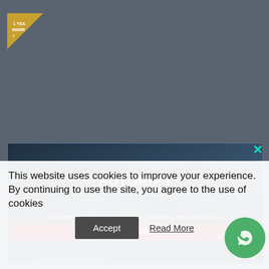[Figure (screenshot): Website page screenshot with darkened/blurred background showing an article with a motorcycle-related image and a gold triangle badge in top left]
[Figure (advertisement): Oxford Hotgrips Advanced Touring bike-specific advertisement overlay modal showing heated motorcycle grips product with text HOTGRIPS THE ORIGINAL. THE BEST, OXFORD HOTGRIPS ADVANCED TOURING BIKE SPECIFIC, £190 INCLUDING FITTING on a red CTA bar]
This website uses cookies to improve your experience. By continuing to use the site, you agree to the use of cookies
[Figure (other): Accept button and Read More link for cookie consent, plus WhatsApp chat circle button in bottom right]